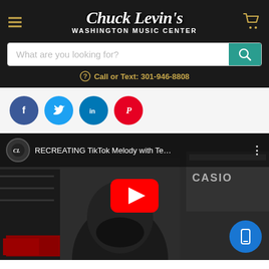[Figure (logo): Chuck Levin's Washington Music Center logo with hamburger menu and cart icon on dark background]
What are you looking for?
Call or Text: 301-946-8808
[Figure (infographic): Social media share buttons: Facebook, Twitter, LinkedIn, Pinterest]
[Figure (screenshot): YouTube video thumbnail: RECREATING TikTok Melody with Te... showing person in mask in music store with Casio keyboards in background]